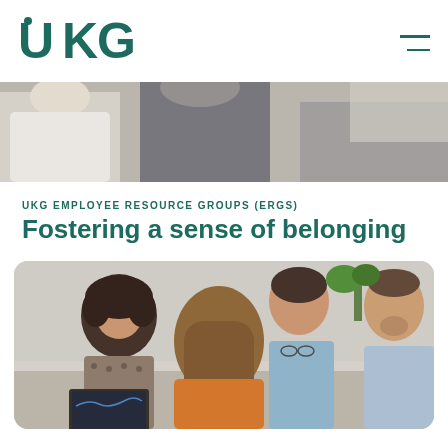UKG
[Figure (photo): Cropped banner photo showing people in an office environment, partially visible from mid-body down, blurred background]
UKG EMPLOYEE RESOURCE GROUPS (ERGS)
Fostering a sense of belonging
[Figure (photo): Photo of four people sitting around a table in a meeting, one man with glasses speaking, others listening attentively, with a laptop visible]